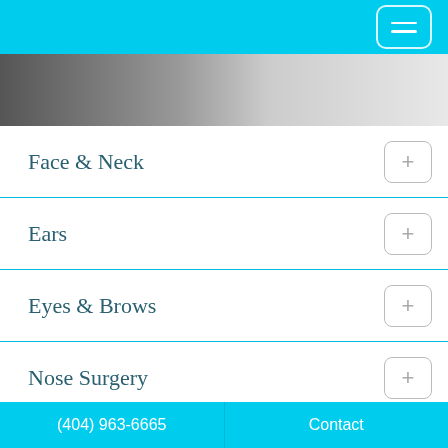navigation header with hamburger menu
[Figure (photo): Grayscale hero image of a person in a suit, fading to light gray on the right]
Face & Neck
Ears
Eyes & Brows
Nose Surgery
Lip Procedures
(404) 963-6665    Contact